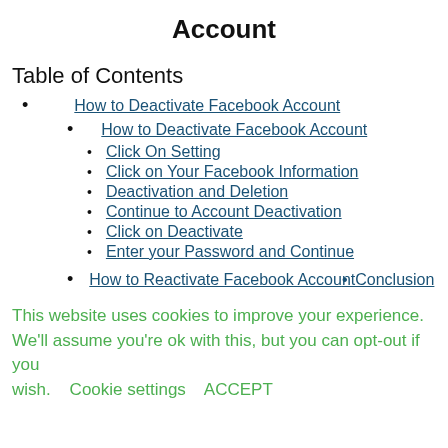Account
Table of Contents
How to Deactivate Facebook Account
How to Deactivate Facebook Account
Click On Setting
Click on Your Facebook Information
Deactivation and Deletion
Continue to Account Deactivation
Click on Deactivate
Enter your Password and Continue
How to Reactivate Facebook AccountConclusion
This website uses cookies to improve your experience. We'll assume you're ok with this, but you can opt-out if you wish.    Cookie settings    ACCEPT